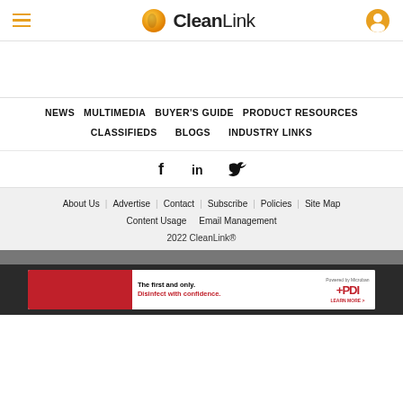CleanLink
NEWS   MULTIMEDIA   BUYER'S GUIDE   PRODUCT RESOURCES   CLASSIFIEDS   BLOGS   INDUSTRY LINKS
[Figure (other): Social media icons: Facebook, LinkedIn, Twitter]
About Us   Advertise   Contact   Subscribe   Policies   Site Map   Content Usage   Email Management   2022 CleanLink®
[Figure (other): PDI advertisement banner: The first and only. Disinfect with confidence. Powered by Microban. PDI. Learn More.]